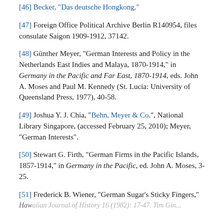[46] Becker, "Das deutsche Hongkong."
[47] Foreign Office Political Archive Berlin R140954, files consulate Saigon 1909-1912, 37142.
[48] Günther Meyer, "German Interests and Policy in the Netherlands East Indies and Malaya, 1870-1914," in Germany in the Pacific and Far East, 1870-1914, eds. John A. Moses and Paul M. Kennedy (St. Lucia: University of Queensland Press, 1977), 40-58.
[49] Joshua Y. J. Chia, "Behn, Meyer &amp; Co.", National Library Singapore, (accessed February 25, 2010); Meyer, "German Interests".
[50] Stewart G. Firth, "German Firms in the Pacific Islands, 1857-1914," in Germany in the Pacific, ed. John A. Moses, 3-25.
[51] Frederick B. Wiener, "German Sugar's Sticky Fingers," Hawaiian Journal of History 16 (1982): 17-47. Tim Gin...